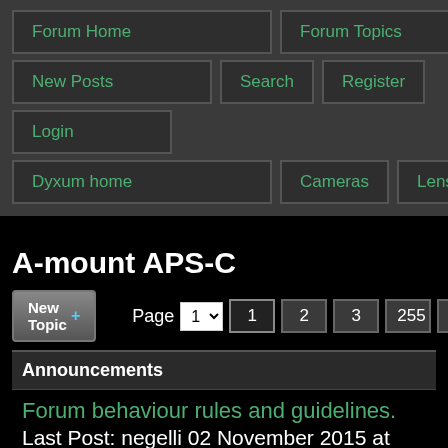[Figure (screenshot): Navigation menu with buttons: Forum Home, Forum Topics, New Posts, Search, Register, Login, Dyxum home, Cameras, Lenses]
A-mount APS-C
New Topic +   Page 1 ▾  1  2  3  255  >
Announcements
Forum behaviour rules and guidelines.
Last Post: negelli 02 November 2015 at